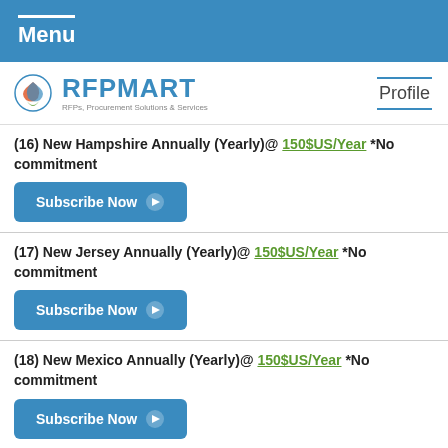Menu
[Figure (logo): RFPMART logo with tagline RFPs, Procurement Solutions & Services, and Profile link on the right]
(16) New Hampshire Annually (Yearly)@ 150$US/Year *No commitment
(17) New Jersey Annually (Yearly)@ 150$US/Year *No commitment
(18) New Mexico Annually (Yearly)@ 150$US/Year *No commitment
(19) New York Annually (Yearly)@ 150$US/Year *No commitment